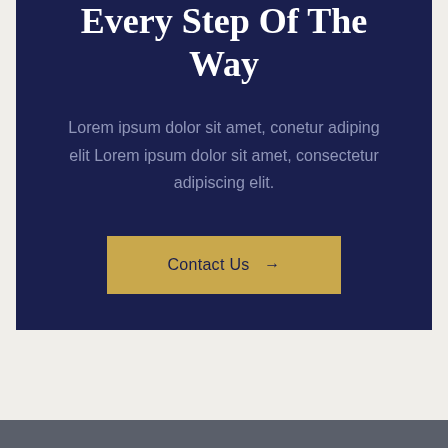Every Step Of The Way
Lorem ipsum dolor sit amet, conetur adiping elit Lorem ipsum dolor sit amet, consectetur adipiscing elit.
Contact Us →